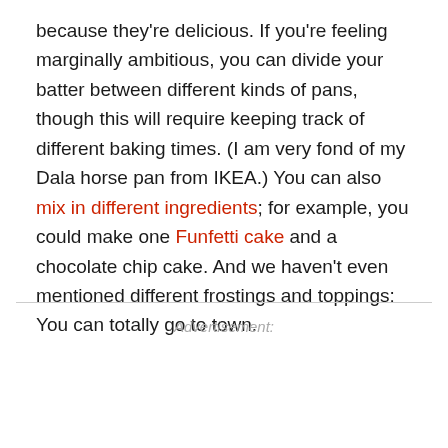because they're delicious. If you're feeling marginally ambitious, you can divide your batter between different kinds of pans, though this will require keeping track of different baking times. (I am very fond of my Dala horse pan from IKEA.) You can also mix in different ingredients; for example, you could make one Funfetti cake and a chocolate chip cake. And we haven't even mentioned different frostings and toppings: You can totally go to town.
Advertisement: